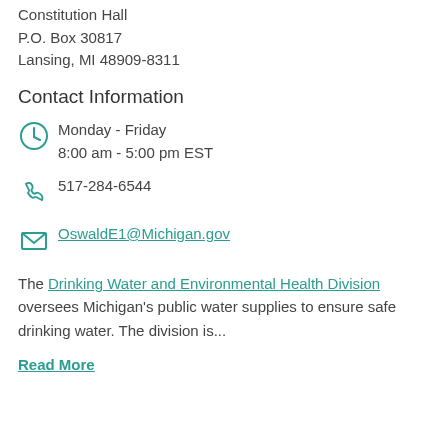Constitution Hall
P.O. Box 30817
Lansing, MI 48909-8311
Contact Information
Monday - Friday
8:00 am - 5:00 pm EST
517-284-6544
OswaldE1@Michigan.gov
The Drinking Water and Environmental Health Division oversees Michigan's public water supplies to ensure safe drinking water. The division is...
Read More